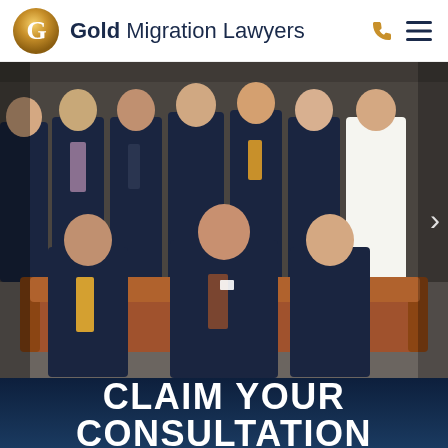Gold Migration Lawyers
[Figure (photo): Group photo of Gold Migration Lawyers team — approximately 12 lawyers in dark navy suits seated and standing in an office setting with tan leather sofas]
CLAIM YOUR CONSULTATION